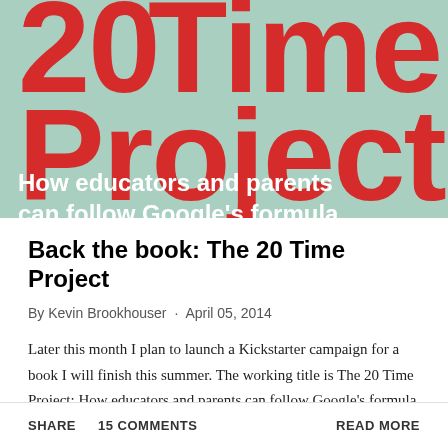[Figure (illustration): Book cover for 'The 20 Time Project' with a teal/mint green background. Large red bold text reads '20 Time Project'. White bold subtitle text reads 'How educators and parents can follow Google's formula for supercharged innovation' (partially cut off at bottom).]
Back the book: The 20 Time Project
By Kevin Brookhouser · April 05, 2014
Later this month I plan to launch a Kickstarter campaign for a book I will finish this summer. The working title is The 20 Time Project: How educators and parents can follow Google's formula for supercharged innovation...
SHARE   15 COMMENTS   READ MORE